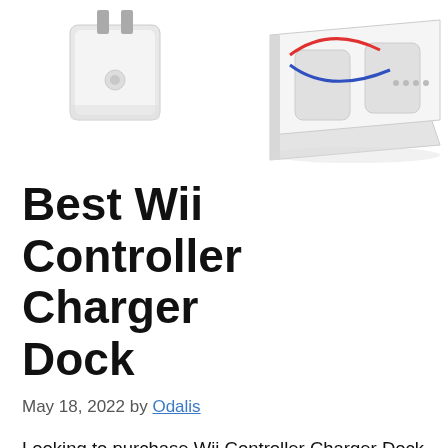[Figure (photo): Product photo showing a white wall plug/charger adapter on the left and a white Wii controller charging dock station with red and blue trim on the right, on a white background.]
Best Wii Controller Charger Dock
May 18, 2022 by Odalis
Looking to purchase Wii Controller Charger Dock in the online market? Before you make your purchase it's crucial to spend your time researching the product; ensuring you get